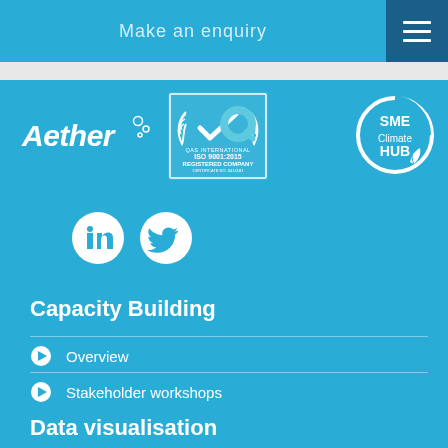Make an enquiry
[Figure (logo): Aether company logo with circular bubble design, ISO 9001:2015 QAS International Registered Company badge, and SME Climate HUB logo]
[Figure (logo): LinkedIn and Twitter social media icons (white circles)]
Capacity Building
Overview
Stakeholder workshops
Data visualisation